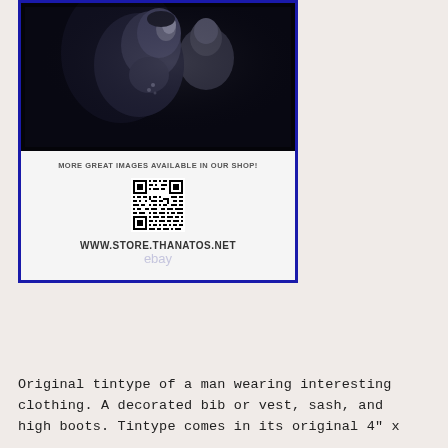[Figure (photo): Black and white photograph showing two women, one in the foreground facing sideways and one partially visible in the background, appearing to be a vintage portrait photo]
[Figure (infographic): Shop banner reading 'MORE GREAT IMAGES AVAILABLE IN OUR SHOP!' with a QR code and the URL WWW.STORE.THANATOS.NET, plus an eBay watermark]
View on eBay
Original tintype of a man wearing interesting clothing. A decorated bib or vest, sash, and high boots. Tintype comes in its original 4" x